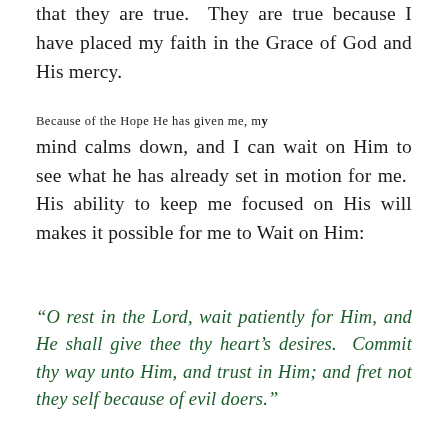that they are true.  They are true because I have placed my faith in the Grace of God and His mercy.
Because of the Hope He has given me, my mind calms down, and I can wait on Him to see what he has already set in motion for me.  His ability to keep me focused on His will makes it possible for me to Wait on Him:
“O rest in the Lord, wait patiently for Him, and He shall give thee thy heart’s desires.  Commit thy way unto Him, and trust in Him; and fret not they self because of evil doers.”